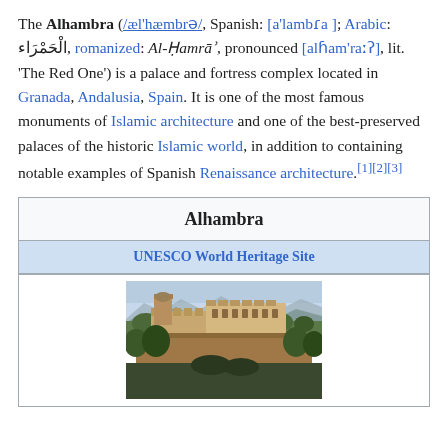The Alhambra (/æl'hæmbrə/, Spanish: [a'lambɾa ]; Arabic: الْحَمْرَاء, romanized: Al-Ḥamrāʾ, pronounced [alɦam'raːʔ], lit. 'The Red One') is a palace and fortress complex located in Granada, Andalusia, Spain. It is one of the most famous monuments of Islamic architecture and one of the best-preserved palaces of the historic Islamic world, in addition to containing notable examples of Spanish Renaissance architecture.[1][2][3]
[Figure (other): Infobox for Alhambra showing title, UNESCO World Heritage Site designation, and aerial/panoramic photo of the Alhambra palace complex with mountains in background]